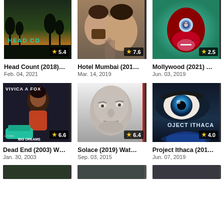[Figure (screenshot): Movie grid listing showing 6 movies with thumbnails, star ratings, titles and dates]
Head Count (2018)...
Feb. 04, 2021
★ 5.4
Hotel Mumbai (201...
Mar. 14, 2019
★ 7.6
Mollywood (2021) ...
Jun. 03, 2019
★ 2.5
Dead End (2003) W...
Jan. 30, 2003
★ 6.6
Solace (2019) Wat...
Sep. 03, 2015
★ 6.4
Project Ithaca (201...
Jun. 07, 2019
★ 4.0